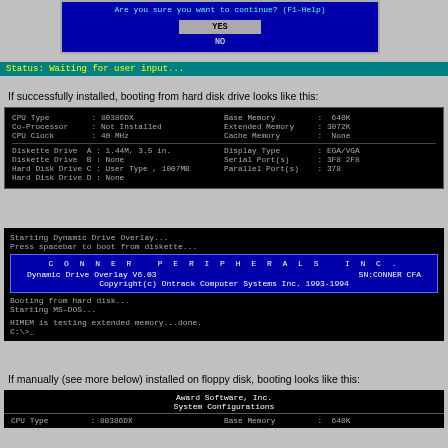[Figure (screenshot): DOS dialog box asking 'Are you sure you want to continue? (F1-Help)' with YES highlighted and NO below on blue background]
Status: Waiting for user input...
If successfully installed, booting from hard disk drive looks like this:
[Figure (screenshot): BIOS system configuration screen showing CPU Type: 80386DX, Co-Processor: Not Installed, CPU Clock: 40 MHz, Base Memory: 640K, Extended Memory: 3072K, Cache Memory: None, Diskette Drive A: 1.44M 3.5 in., Diskette Drive B: None, Hard Disk Drive C: User Type, 1007MB, Hard Disk Drive D: None, Display Type: EGA/VGA, Serial Port(s): 3F8 2F8, Parallel Port(s): 378]
[Figure (screenshot): Boot screen showing: Starting Dynamic Drive Overlay... Press spacebar to boot from diskette... CONNER PERIPHERALS INC. Dynamic Drive Overlay V6.03 SN:CONNER CFA Copyright(c) Ontrack Computer Systems Inc. 1993-1994. Booting from hard disk... Starting MS-DOS... HIMEM is testing extended memory...done. C:\>_]
If manually (see more below) installed on floppy disk, booting looks like this:
[Figure (screenshot): Award Software Inc. System Configurations screen showing CPU Type: 80386DX, Base Memory: 640K]